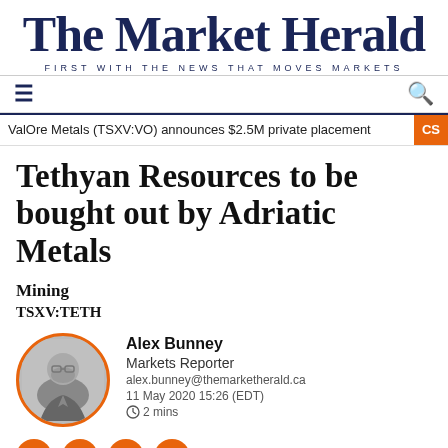The Market Herald
FIRST WITH THE NEWS THAT MOVES MARKETS
ValOre Metals (TSXV:VO) announces $2.5M private placement
Tethyan Resources to be bought out by Adriatic Metals
Mining
TSXV:TETH
Alex Bunney
Markets Reporter
alex.bunney@themarketherald.ca
11 May 2020 15:26 (EDT)
2 mins